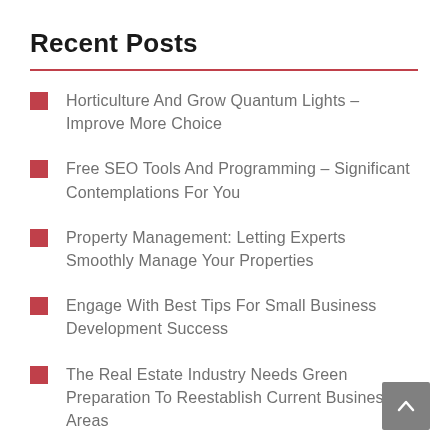Recent Posts
Horticulture And Grow Quantum Lights – Improve More Choice
Free SEO Tools And Programming – Significant Contemplations For You
Property Management: Letting Experts Smoothly Manage Your Properties
Engage With Best Tips For Small Business Development Success
The Real Estate Industry Needs Green Preparation To Reestablish Current Business Areas